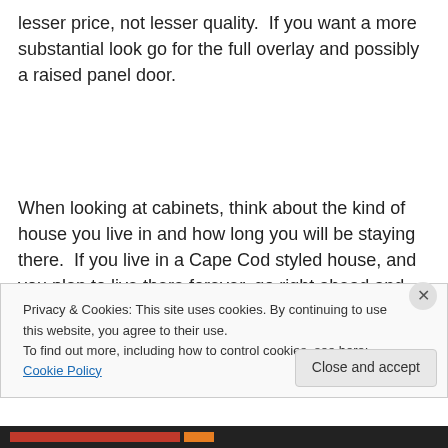lesser price, not lesser quality.  If you want a more substantial look go for the full overlay and possibly a raised panel door.
When looking at cabinets, think about the kind of house you live in and how long you will be staying there.  If you live in a Cape Cod styled house, and you plan to live there forever, go right ahead and put in that Mediterranean villa
Privacy & Cookies: This site uses cookies. By continuing to use this website, you agree to their use.
To find out more, including how to control cookies, see here: Cookie Policy